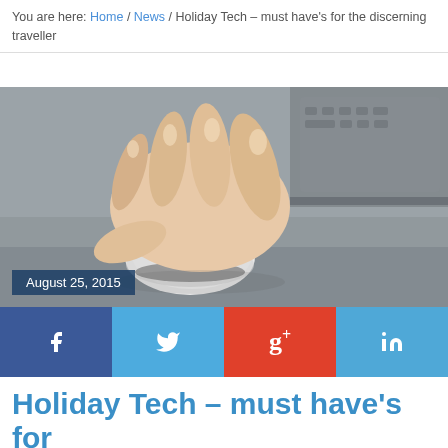You are here: Home / News / Holiday Tech – must have's for the discerning traveller
[Figure (photo): Close-up photo of a hand resting on an Apple Magic Mouse on a desk, with a laptop keyboard visible in the background, blurred. Date overlay reads 'August 25, 2015'.]
[Figure (infographic): Social sharing bar with four buttons: Facebook (f), Twitter (bird icon), Google+ (g+), LinkedIn (in).]
Holiday Tech – must have's for the discerning traveller